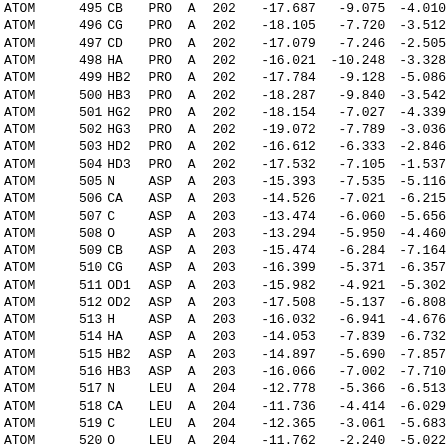| Record | Serial | Name | ResName | Chain | SeqNo | X | Y | Z |
| --- | --- | --- | --- | --- | --- | --- | --- | --- |
| ATOM | 495 | CB | PRO | A | 202 | -17.687 | -9.075 | -4.010 |
| ATOM | 496 | CG | PRO | A | 202 | -18.105 | -7.720 | -3.512 |
| ATOM | 497 | CD | PRO | A | 202 | -17.079 | -7.246 | -2.505 |
| ATOM | 498 | HA | PRO | A | 202 | -16.021 | -10.248 | -3.328 |
| ATOM | 499 | HB2 | PRO | A | 202 | -17.784 | -9.128 | -5.086 |
| ATOM | 500 | HB3 | PRO | A | 202 | -18.287 | -9.840 | -3.542 |
| ATOM | 501 | HG2 | PRO | A | 202 | -18.154 | -7.027 | -4.339 |
| ATOM | 502 | HG3 | PRO | A | 202 | -19.072 | -7.789 | -3.036 |
| ATOM | 503 | HD2 | PRO | A | 202 | -16.612 | -6.333 | -2.846 |
| ATOM | 504 | HD3 | PRO | A | 202 | -17.532 | -7.105 | -1.537 |
| ATOM | 505 | N | ASP | A | 203 | -15.393 | -7.535 | -5.116 |
| ATOM | 506 | CA | ASP | A | 203 | -14.526 | -7.021 | -6.215 |
| ATOM | 507 | C | ASP | A | 203 | -13.474 | -6.060 | -5.656 |
| ATOM | 508 | O | ASP | A | 203 | -13.294 | -5.950 | -4.460 |
| ATOM | 509 | CB | ASP | A | 203 | -15.474 | -6.284 | -7.164 |
| ATOM | 510 | CG | ASP | A | 203 | -16.399 | -5.371 | -6.357 |
| ATOM | 511 | OD1 | ASP | A | 203 | -15.982 | -4.921 | -5.302 |
| ATOM | 512 | OD2 | ASP | A | 203 | -17.508 | -5.137 | -6.808 |
| ATOM | 513 | H | ASP | A | 203 | -16.032 | -6.941 | -4.676 |
| ATOM | 514 | HA | ASP | A | 203 | -14.053 | -7.839 | -6.732 |
| ATOM | 515 | HB2 | ASP | A | 203 | -14.897 | -5.690 | -7.857 |
| ATOM | 516 | HB3 | ASP | A | 203 | -16.066 | -7.002 | -7.710 |
| ATOM | 517 | N | LEU | A | 204 | -12.778 | -5.366 | -6.513 |
| ATOM | 518 | CA | LEU | A | 204 | -11.736 | -4.414 | -6.029 |
| ATOM | 519 | C | LEU | A | 204 | -12.365 | -3.061 | -5.683 |
| ATOM | 520 | O | LEU | A | 204 | -11.762 | -2.240 | -5.022 |
| ATOM | 521 | CB | LEU | A | 204 | -10.759 | -4.268 | -7.197 |
| ATOM | 522 | CG | LEU | A | 204 | -9.602 | -3.358 | -6.784 |
| ATOM | 523 | CD1 | LEU | A | 204 | -9.016 | -3.847 | -5.458 |
| ATOM | 524 | CD2 | LEU | A | 204 | -8.517 | -3.397 | -7.863 |